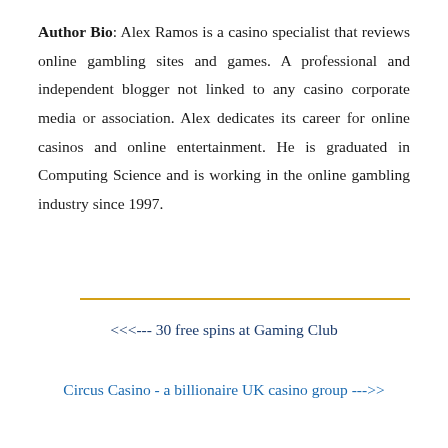Author Bio: Alex Ramos is a casino specialist that reviews online gambling sites and games. A professional and independent blogger not linked to any casino corporate media or association. Alex dedicates its career for online casinos and online entertainment. He is graduated in Computing Science and is working in the online gambling industry since 1997.
<<<--- 30 free spins at Gaming Club
Circus Casino - a billionaire UK casino group --->>